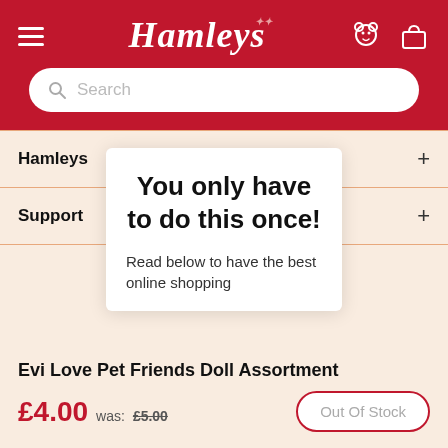Hamleys
Search
Hamleys
Support
You only have to do this once!
Read below to have the best online shopping
Evi Love Pet Friends Doll Assortment
£4.00 was: £5.00
Out Of Stock